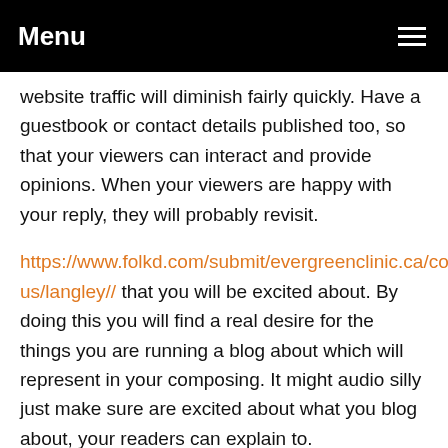Menu
website traffic will diminish fairly quickly. Have a guestbook or contact details published too, so that your viewers can interact and provide opinions. When your viewers are happy with your reply, they will probably revisit.
https://www.folkd.com/submit/evergreenclinic.ca/contact-us/langley// that you will be excited about. By doing this you will find a real desire for the things you are running a blog about which will represent in your composing. It might audio silly just make sure are excited about what you blog about, your readers can explain to.
Consider publishing ahead of https://urlscan.io/result/a1771c61-ce5d-4891-981d-cb858e31766d/ . Usually do not be shy, or believe that it can ruin